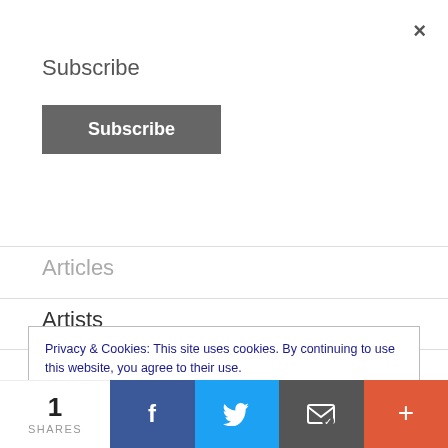×
Subscribe
[Figure (other): Subscribe button (dark gray rounded rectangle with white bold text 'Subscribe')]
Articles
Artists
Awards
Book Design
Branding
Privacy & Cookies: This site uses cookies. By continuing to use this website, you agree to their use.
To find out more, including how to control cookies, see here: Cookie Policy
1 SHARES | Facebook | Twitter | Email | More